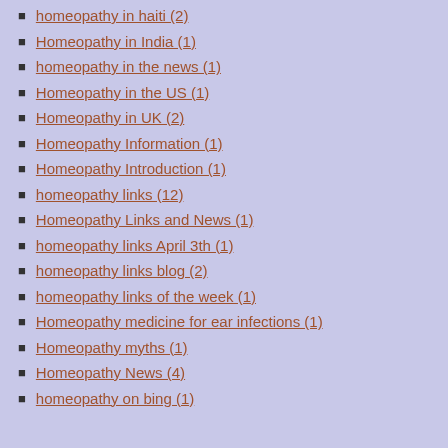homeopathy in haiti (2)
Homeopathy in India (1)
homeopathy in the news (1)
Homeopathy in the US (1)
Homeopathy in UK (2)
Homeopathy Information (1)
Homeopathy Introduction (1)
homeopathy links (12)
Homeopathy Links and News (1)
homeopathy links April 3th (1)
homeopathy links blog (2)
homeopathy links of the week (1)
Homeopathy medicine for ear infections (1)
Homeopathy myths (1)
Homeopathy News (4)
homeopathy on bing (1)